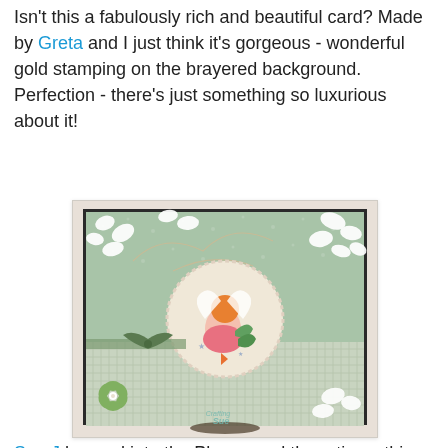Isn't this a fabulously rich and beautiful card? Made by Greta and I just think it's gorgeous - wonderful gold stamping on the brayered background. Perfection - there's just something so luxurious about it!
[Figure (photo): A handmade craft card featuring a green patterned background with white ivy leaf die cuts, a central circular panel with a fairy/angel illustration, a green gingham ribbon bow, and green and white decorative flowers. Watermark reads 'Crafting Sue'.]
Sue J hopped into the Playground three times this week,